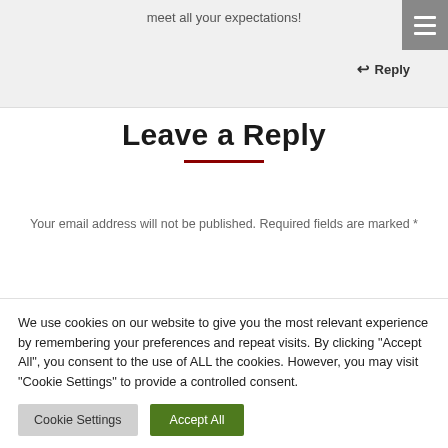meet all your expectations!
Reply
Leave a Reply
Your email address will not be published. Required fields are marked *
We use cookies on our website to give you the most relevant experience by remembering your preferences and repeat visits. By clicking "Accept All", you consent to the use of ALL the cookies. However, you may visit "Cookie Settings" to provide a controlled consent.